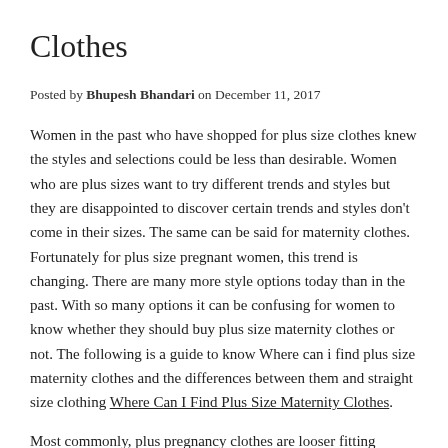Clothes
Posted by Bhupesh Bhandari on December 11, 2017
Women in the past who have shopped for plus size clothes knew the styles and selections could be less than desirable. Women who are plus sizes want to try different trends and styles but they are disappointed to discover certain trends and styles don't come in their sizes. The same can be said for maternity clothes. Fortunately for plus size pregnant women, this trend is changing. There are many more style options today than in the past. With so many options it can be confusing for women to know whether they should buy plus size maternity clothes or not. The following is a guide to know Where can i find plus size maternity clothes and the differences between them and straight size clothing Where Can I Find Plus Size Maternity Clothes.
Most commonly, plus pregnancy clothes are looser fitting